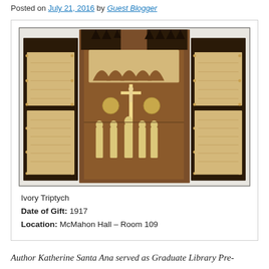Posted on July 21, 2016 by Guest Blogger
[Figure (photo): Photograph of an ornate open ivory triptych with Gothic-style architectural carving at the top, a crucifix in the central panel, ivory figurines, and carved relief scenes on the side panels, set against a dark wooden frame.]
Ivory Triptych
Date of Gift: 1917
Location: McMahon Hall – Room 109
Author Katherine Santa Ana served as Graduate Library Pre-Professional (GLP), 2015-2017.